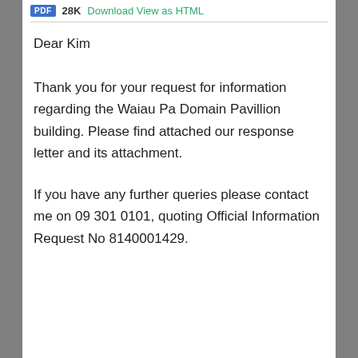28K Download View as HTML
Dear Kim
Thank you for your request for information regarding the Waiau Pa Domain Pavillion building. Please find attached our response letter and its attachment.
If you have any further queries please contact me on 09 301 0101, quoting Official Information Request No 8140001429.